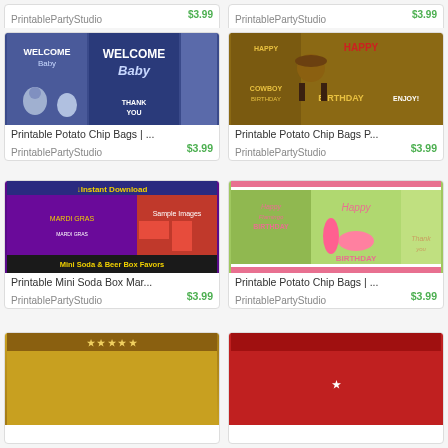[Figure (screenshot): Top partial product cards showing PrintablePartyStudio items at $3.99 each, partially cut off at top]
[Figure (photo): Printable Potato Chip Bags - Welcome Baby blue elephant theme product image]
Printable Potato Chip Bags | ...
PrintablePartyStudio
$3.99
[Figure (photo): Printable Potato Chip Bags - Cowboy Birthday theme product image]
Printable Potato Chip Bags P...
PrintablePartyStudio
$3.99
[Figure (photo): Printable Mini Soda Box Mardi Gras theme product image with sample images]
Printable Mini Soda Box Mar...
PrintablePartyStudio
$3.99
[Figure (photo): Printable Potato Chip Bags - Happy Flamingo Birthday theme product image]
Printable Potato Chip Bags | ...
PrintablePartyStudio
$3.99
[Figure (screenshot): Bottom partial product cards, gold theme on left, partially visible]